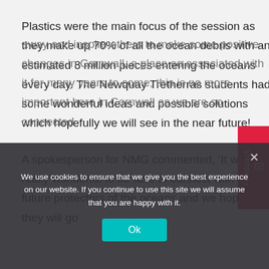Plastics were the main focus of the session as they make up 70% of all the ocean debris with an estimated 8 million pieces entering the oceans every day. The Newquay Tretherras students had some wonderful ideas and possible solutions which hopefully we will see in the near future!
A spokesperson for NMG commented, ‘It was really wonderful to be able to connect with the future protectors of the oceans and we hope that they will go away and inspire others to make some positive changes in Cornwall, a place so associated with it for many years to come; this is no more important here in Cornwall as we are so connected
We use cookies to ensure that we give you the best experience on our website. If you continue to use this site we will assume that you are happy with it.